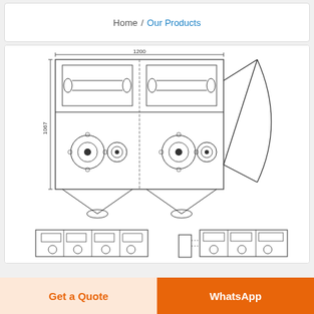Home / Our Products
[Figure (engineering-diagram): Technical engineering drawing of an industrial dust collector / baghouse filter unit. The top view shows a rectangular housing with two roller/motor assemblies and a side-exit conical discharge chute. Dimension annotations shown: 1200 width and 1067 height. Bottom portion shows two additional orthographic views (front elevation and side elevation) of the same equipment.]
Get a Quote
WhatsApp